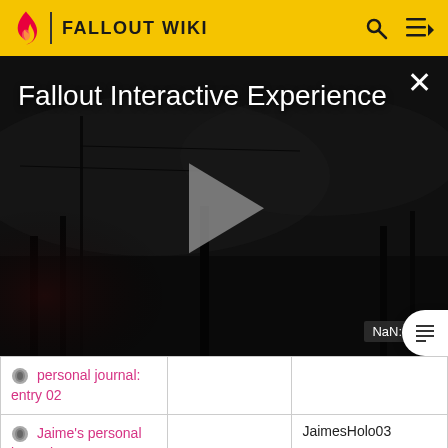FALLOUT WIKI
[Figure (screenshot): Fallout Interactive Experience video player overlay on dark atmospheric background with play button, showing title 'Fallout Interactive Experience' and close button, with NaN:NaN timestamp]
| personal journal: entry 02 |  |  |
| Jaime's personal journal: entry [truncated] |  | JaimesHolo03 |